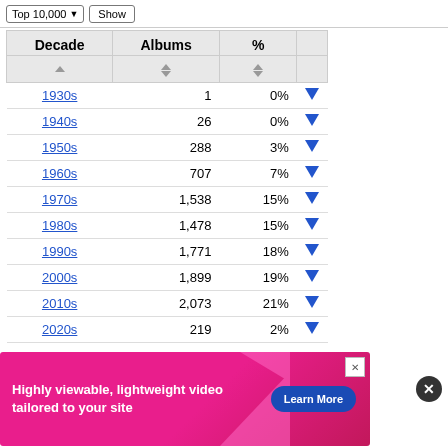| Decade | Albums | % |  |
| --- | --- | --- | --- |
| 1930s | 1 | 0% | ▼ |
| 1940s | 26 | 0% | ▼ |
| 1950s | 288 | 3% | ▼ |
| 1960s | 707 | 7% | ▼ |
| 1970s | 1,538 | 15% | ▼ |
| 1980s | 1,478 | 15% | ▼ |
| 1990s | 1,771 | 18% | ▼ |
| 2000s | 1,899 | 19% | ▼ |
| 2010s | 2,073 | 21% | ▼ |
| 2020s | 219 | 2% | ▼ |
[Figure (screenshot): Advertisement banner: 'Highly viewable, lightweight video tailored to your site' with a Learn More button on a pink/magenta background.]